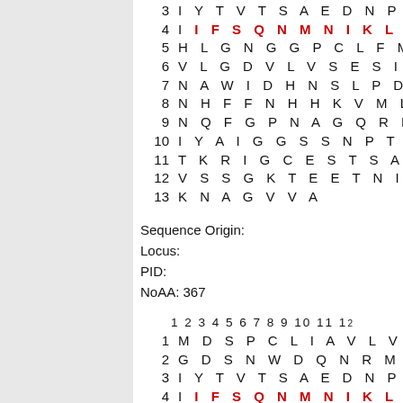3   I Y T V T S A E D N P V
4   I I F S Q N M N I K L K
5   H L G N G G P C L F M R
6   V L G D V L V S E S I G
7   N A W I D H N S L P D C
8   N H F F N H H K V M L L
9   N Q F G P N A G Q R M P
10  I Y A I G G S S N P T I
11  T K R I G C E S T S A C
12  V S S G K T E E T N I Y
13  K N A G V V A
Sequence Origin:
Locus:
PID:
NoAA: 367
1 2 3 4 5 6 7 8 9 10 11 12
1  M D S P C L I A V L V F
2  G D S N W D Q N R M K L
3  I Y T V T S A E D N P V
4  I I F S Q N M N I K L K